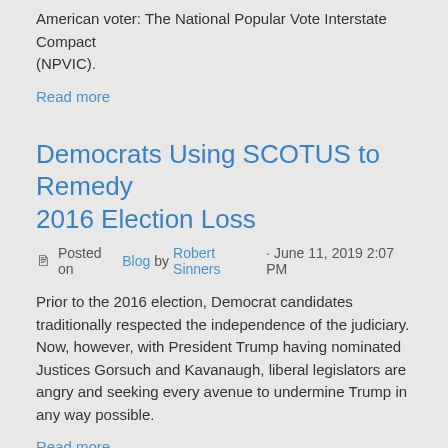American voter: The National Popular Vote Interstate Compact (NPVIC).
Read more
Democrats Using SCOTUS to Remedy 2016 Election Loss
Posted on Blog by Robert Sinners · June 11, 2019 2:07 PM
Prior to the 2016 election, Democrat candidates traditionally respected the independence of the judiciary. Now, however, with President Trump having nominated Justices Gorsuch and Kavanaugh, liberal legislators are angry and seeking every avenue to undermine Trump in any way possible.
Read more
Nevada's Democratic Governor Vetoes